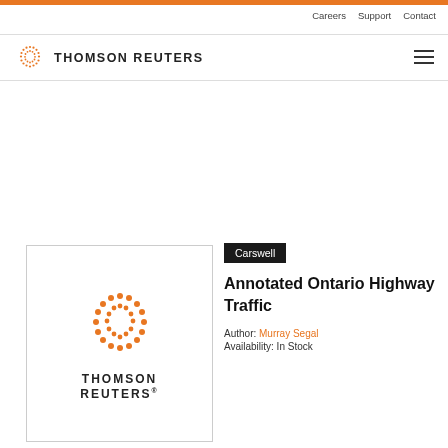Careers  Support  Contact
[Figure (logo): Thomson Reuters logo with orange dot-circle icon and bold uppercase text THOMSON REUTERS]
[Figure (logo): Thomson Reuters book cover with orange dot-circle logo and text THOMSON REUTERS®]
Carswell
Annotated Ontario Highway Traffic
Author: Murray Segal
Availability: In Stock